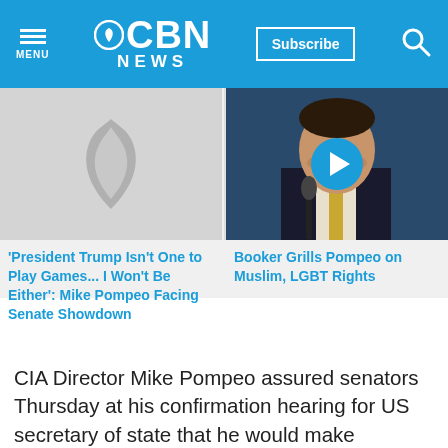CBN NEWS
[Figure (screenshot): CBN News logo placeholder image with flame icon]
'President Trump Isn't One to Play Games... I Won't Be Either': Mike Pompeo Facing Senate Showdown
[Figure (photo): Photo of Mike Pompeo at Senate confirmation hearing with video play button overlay]
Booker Grills Pompeo on Muslim, LGBT Rights
CIA Director Mike Pompeo assured senators Thursday at his confirmation hearing for US secretary of state that he would make defending the United States his top priority